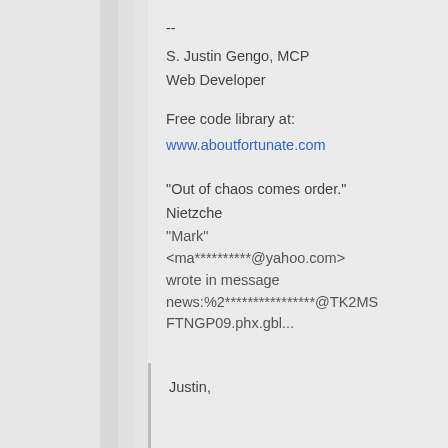--
S. Justin Gengo, MCP
Web Developer
Free code library at:
www.aboutfortunate.com
"Out of chaos comes order."
Nietzche
"Mark"
<ma**********@yahoo.com>
wrote in message
news:%2****************@TK2MS FTNGP09.phx.gbl...
Justin,